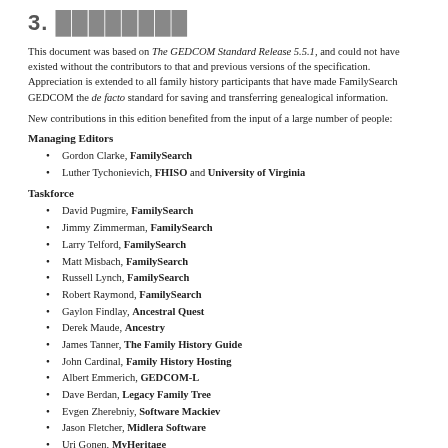3. Limitations
This document was based on The GEDCOM Standard Release 5.5.1, and could not have existed without the contributors to that and previous versions of the specification. Appreciation is extended to all family history participants that have made FamilySearch GEDCOM the de facto standard for saving and transferring genealogical information.
New contributions in this edition benefited from the input of a large number of people:
Managing Editors
Gordon Clarke, FamilySearch
Luther Tychonievich, FHISO and University of Virginia
Taskforce
David Pugmire, FamilySearch
Jimmy Zimmerman, FamilySearch
Larry Telford, FamilySearch
Matt Misbach, FamilySearch
Russell Lynch, FamilySearch
Robert Raymond, FamilySearch
Gaylon Findlay, Ancestral Quest
Derek Maude, Ancestry
James Tanner, The Family History Guide
John Cardinal, Family History Hosting
Albert Emmerich, GEDCOM-L
Dave Berdan, Legacy Family Tree
Evgen Zherebniy, Software Mackiev
Jason Fletcher, Midlera Software
Uri Gonen, MyHeritage
Dallan Quass, OurRoots.org